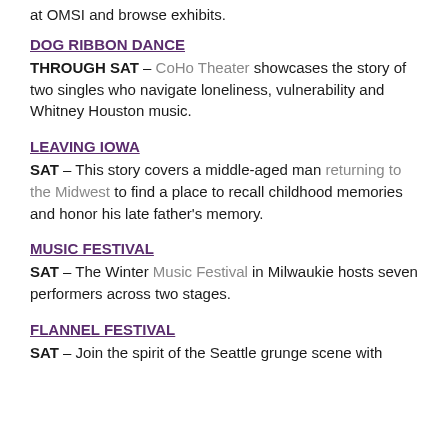at OMSI and browse exhibits.
DOG RIBBON DANCE
THROUGH SAT – CoHo Theater showcases the story of two singles who navigate loneliness, vulnerability and Whitney Houston music.
LEAVING IOWA
SAT – This story covers a middle-aged man returning to the Midwest to find a place to recall childhood memories and honor his late father's memory.
MUSIC FESTIVAL
SAT – The Winter Music Festival in Milwaukie hosts seven performers across two stages.
FLANNEL FESTIVAL
SAT – Join the spirit of the Seattle grunge scene with